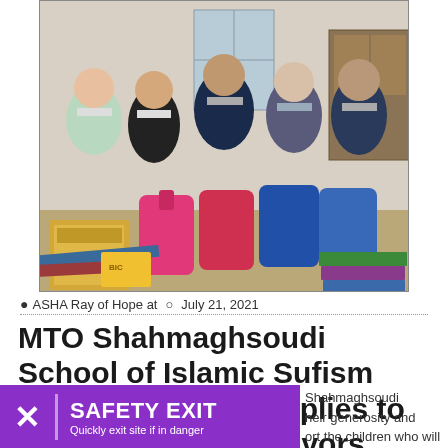[Figure (photo): Five people wearing face masks standing behind a table filled with backpacks, school supplies, boxes and notebooks. Photo taken indoors.]
ASHA Ray of Hope at  July 21, 2021
MTO Shahmaghsoudi School of Islamic Sufism donates school supplies to children of DV survivors
[Figure (infographic): Purple Safety Exit button with X icon. Text reads: SAFETY EXIT - Quickly exit site if in danger]
Shahmaghsoudi heir generosity and ort the children who will